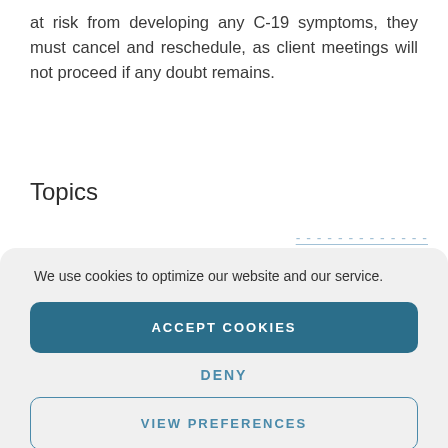at risk from developing any C-19 symptoms, they must cancel and reschedule, as client meetings will not proceed if any doubt remains.
Topics
We use cookies to optimize our website and our service.
ACCEPT COOKIES
DENY
VIEW PREFERENCES
Cookie Policy   Privacy Policy